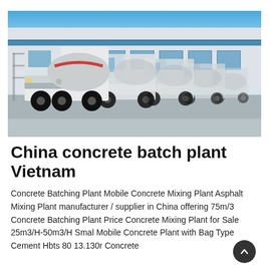[Figure (photo): A row of white concrete mixer trucks parked in front of a large industrial warehouse building with blue sky in the background.]
China concrete batch plant Vietnam
Concrete Batching Plant Mobile Concrete Mixing Plant Asphalt Mixing Plant manufacturer / supplier in China offering 75m/3 Concrete Batching Plant Price Concrete Mixing Plant for Sale 25m3/H-50m3/H Small Mobile Concrete Plant with Bag Type Cement Hbts 80 13.130r Concrete